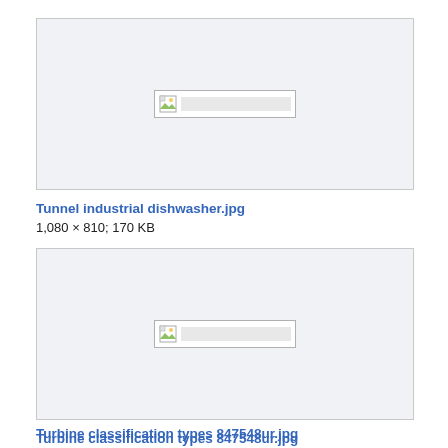[Figure (photo): Placeholder box for Tunnel industrial dishwasher.jpg image, showing a broken image icon with a grey rectangle]
Tunnel industrial dishwasher.jpg
1,080 × 810; 170 KB
[Figure (photo): Placeholder box for Turbine classification types 847548ur.jpg image, showing a broken image icon with a grey rectangle]
Turbine classification types 847548ur.jpg
752 × 382; 86 KB